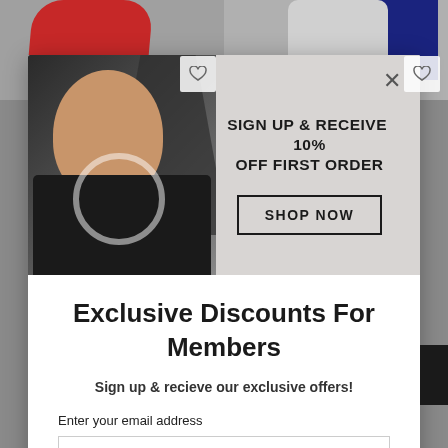[Figure (screenshot): E-commerce website background showing two product thumbnails (red shirt and navy/gray shirts) with heart/wishlist buttons in top corners]
[Figure (photo): Modal popup banner showing a bearded man in a black graphic t-shirt against a crumpled paper background]
SIGN UP & RECEIVE 10% OFF FIRST ORDER
SHOP NOW
Exclusive Discounts For Members
Sign up & recieve our exclusive offers!
Enter your email address